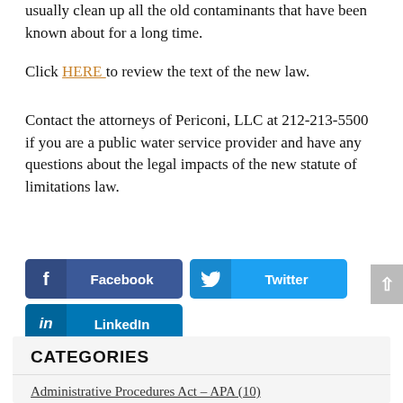usually clean up all the old contaminants that have been known about for a long time.
Click HERE to review the text of the new law.
Contact the attorneys of Periconi, LLC at 212-213-5500 if you are a public water service provider and have any questions about the legal impacts of the new statute of limitations law.
[Figure (other): Social media share buttons: Facebook (dark blue), Twitter (light blue), LinkedIn (medium blue), and a scroll-to-top arrow button (grey)]
CATEGORIES
Administrative Procedures Act – APA (10)